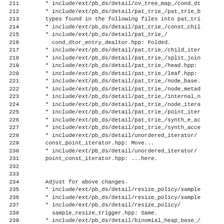Code listing lines 211-242 showing file paths and change log entries for pb_ds detail headers including pat_trie, unordered_iterator, resize_policy, and binomial_heap_base.